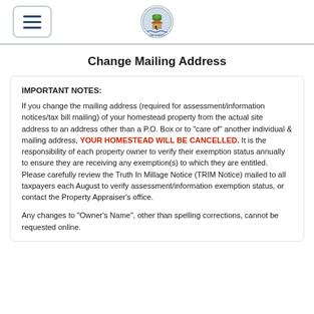[menu icon] [county seal logo]
Change Mailing Address
IMPORTANT NOTES:
If you change the mailing address (required for assessment/information notices/tax bill mailing) of your homestead property from the actual site address to an address other than a P.O. Box or to "care of" another individual & mailing address, YOUR HOMESTEAD WILL BE CANCELLED. It is the responsibility of each property owner to verify their exemption status annually to ensure they are receiving any exemption(s) to which they are entitled. Please carefully review the Truth In Millage Notice (TRIM Notice) mailed to all taxpayers each August to verify assessment/information exemption status, or contact the Property Appraiser's office.
Any changes to "Owner's Name", other than spelling corrections, cannot be requested online.